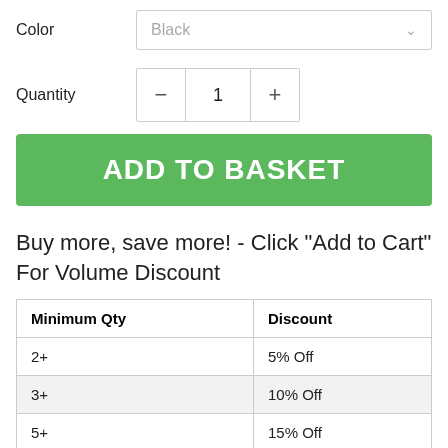Color
Black
Quantity
ADD TO BASKET
Buy more, save more! - Click "Add to Cart" For Volume Discount
| Minimum Qty | Discount |
| --- | --- |
| 2+ | 5% Off |
| 3+ | 10% Off |
| 5+ | 15% Off |